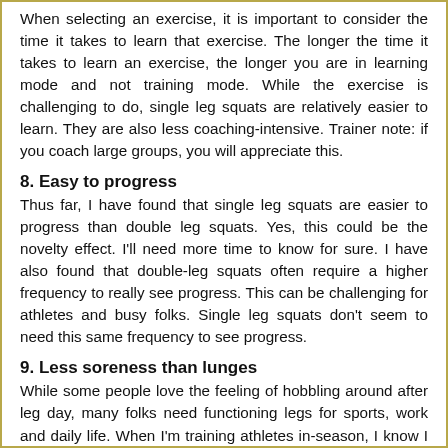When selecting an exercise, it is important to consider the time it takes to learn that exercise. The longer the time it takes to learn an exercise, the longer you are in learning mode and not training mode. While the exercise is challenging to do, single leg squats are relatively easier to learn. They are also less coaching-intensive. Trainer note: if you coach large groups, you will appreciate this.
8. Easy to progress
Thus far, I have found that single leg squats are easier to progress than double leg squats. Yes, this could be the novelty effect. I'll need more time to know for sure. I have also found that double-leg squats often require a higher frequency to really see progress. This can be challenging for athletes and busy folks. Single leg squats don't seem to need this same frequency to see progress.
9. Less soreness than lunges
While some people love the feeling of hobbling around after leg day, many folks need functioning legs for sports, work and daily life. When I'm training athletes in-season, I know I have to be extremely careful with soreness. Sore, stiff legs